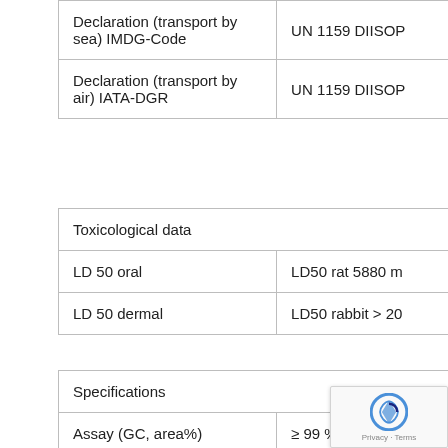| Declaration (transport by sea) IMDG-Code | UN 1159 DIISOP |
| Declaration (transport by air) IATA-DGR | UN 1159 DIISOP |
| ['Toxicological data', ''] |
| --- |
| LD 50 oral | LD50 rat 5880 m |
| LD 50 dermal | LD50 rabbit > 20 |
| ['Specifications', ''] |
| --- |
| Assay (GC, area%) | ≥ 99 % |